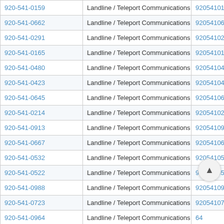| Phone | Type / Carrier | Number |
| --- | --- | --- |
| 920-541-0159 | Landline / Teleport Communications America | 9205410159 |
| 920-541-0662 | Landline / Teleport Communications America | 9205410662 |
| 920-541-0291 | Landline / Teleport Communications America | 9205410291 |
| 920-541-0165 | Landline / Teleport Communications America | 9205410165 |
| 920-541-0480 | Landline / Teleport Communications America | 9205410480 |
| 920-541-0423 | Landline / Teleport Communications America | 9205410423 |
| 920-541-0645 | Landline / Teleport Communications America | 9205410645 |
| 920-541-0214 | Landline / Teleport Communications America | 9205410214 |
| 920-541-0913 | Landline / Teleport Communications America | 9205410913 |
| 920-541-0667 | Landline / Teleport Communications America | 9205410667 |
| 920-541-0532 | Landline / Teleport Communications America | 9205410532 |
| 920-541-0522 | Landline / Teleport Communications America | 9205410522 |
| 920-541-0988 | Landline / Teleport Communications America | 9205410988 |
| 920-541-0723 | Landline / Teleport Communications America | 9205410723 |
| 920-541-0964 | Landline / Teleport Communications America | 9205410964 |
| 920-541-0180 | Landline / Teleport Communications America | 9205410180 |
| 920-541-0973 | Landline / Teleport Communications America | 9205410973 |
| 920-541-0425 | Landline / Teleport Communications America | 9205410425 |